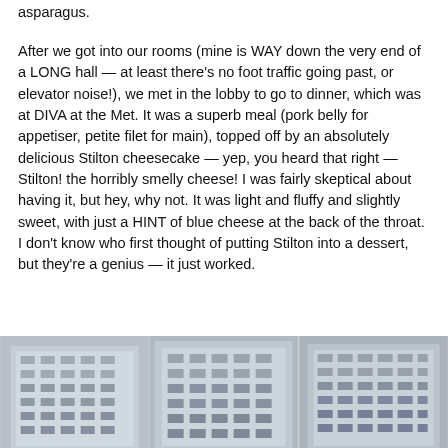asparagus.
After we got into our rooms (mine is WAY down the very end of a LONG hall — at least there's no foot traffic going past, or elevator noise!), we met in the lobby to go to dinner, which was at DIVA at the Met. It was a superb meal (pork belly for appetiser, petite filet for main), topped off by an absolutely delicious Stilton cheesecake — yep, you heard that right — Stilton! the horribly smelly cheese! I was fairly skeptical about having it, but hey, why not. It was light and fluffy and slightly sweet, with just a HINT of blue cheese at the back of the throat. I don't know who first thought of putting Stilton into a dessert, but they're a genius — it just worked.
[Figure (photo): Three photographs of multi-story hotel or apartment buildings, partially visible at the bottom of the page.]